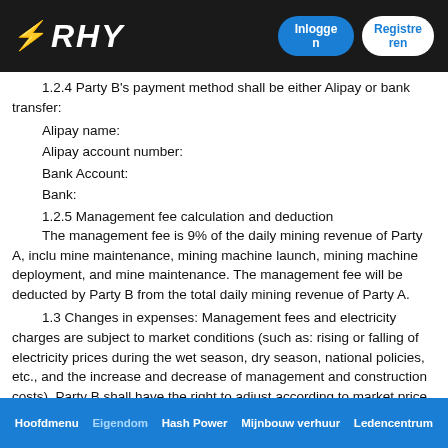RHY | Inloggen | Registreren
1.2.4 Party B's payment method shall be either Alipay or bank transfer:
Alipay name:
Alipay account number:
Bank Account:
Bank:
1.2.5 Management fee calculation and deduction
The management fee is 9% of the daily mining revenue of Party A, including mine maintenance, mining machine launch, mining machine deployment, and mine maintenance. The management fee will be deducted by Party B from the total daily mining revenue of Party A.
1.3 Changes in expenses: Management fees and electricity charges are subject to market conditions (such as: rising or falling of electricity prices during the wet season, dry season, national policies, etc., and the increase and decrease of management and construction costs). Party B shall have the right to adjust according to market price. The right to know, the specific price is subject to the notice of Party B.
Hoofdmenu | Eigendom | Hash Power | Mijnbouw verhuur | Ledencentrum